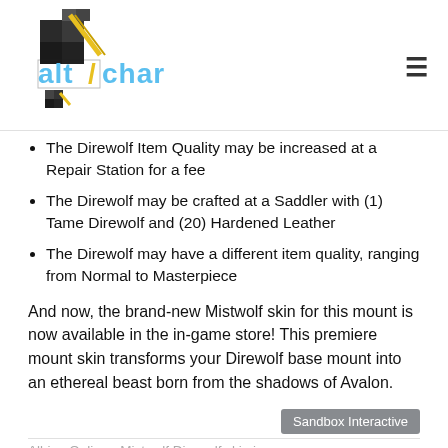AltChar logo and navigation menu
The Direwolf Item Quality may be increased at a Repair Station for a fee
The Direwolf may be crafted at a Saddler with (1) Tame Direwolf and (20) Hardened Leather
The Direwolf may have a different item quality, ranging from Normal to Masterpiece
And now, the brand-new Mistwolf skin for this mount is now available in the in-game store! This premiere mount skin transforms your Direwolf base mount into an ethereal beast born from the shadows of Avalon.
Sandbox Interactive
Albion Online - Mistwolf Direwolf skin in-game